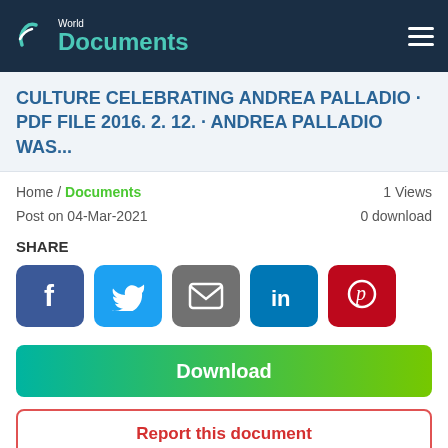World Documents
CULTURE CELEBRATING ANDREA PALLADIO · PDF FILE 2016. 2. 12. · ANDREA PALLADIO WAS...
Home / Documents
1 Views
Post on 04-Mar-2021
0 download
SHARE
[Figure (infographic): Social share buttons: Facebook, Twitter, Email, LinkedIn, Pinterest]
Download
Report this document
1 of 3